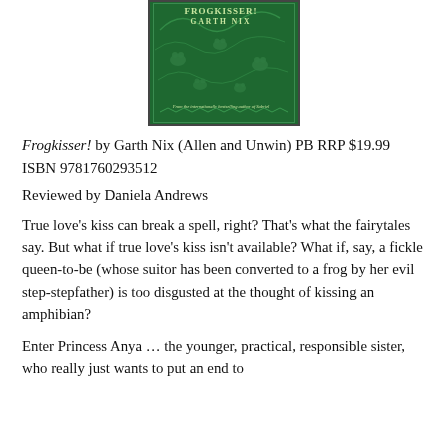[Figure (illustration): Book cover of Frogkisser! by Garth Nix — dark green background with illustrated frogs and decorative vines, cream/yellow text, border decoration, subtitle 'From the internationally bestselling author of Sabriel']
Frogkisser! by Garth Nix (Allen and Unwin) PB RRP $19.99
ISBN 9781760293512
Reviewed by Daniela Andrews
True love's kiss can break a spell, right? That's what the fairytales say. But what if true love's kiss isn't available? What if, say, a fickle queen-to-be (whose suitor has been converted to a frog by her evil step-stepfather) is too disgusted at the thought of kissing an amphibian?
Enter Princess Anya … the younger, practical, responsible sister, who really just wants to put an end to